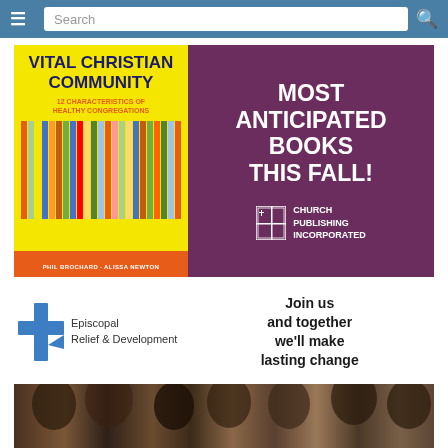Search
[Figure (illustration): Book advertisement for 'Vital Christian Community: 12 Characteristics of Healthy Congregations' by Phil Brochard and Alissa Newton, with purple background and text: MOST ANTICIPATED BOOKS THIS FALL! Church Publishing Incorporated logo.]
[Figure (logo): Episcopal Relief & Development logo with blue cross, alongside text: Join us and together we'll make lasting change]
[Figure (photo): Photo of a group of people, partially visible at bottom of page]